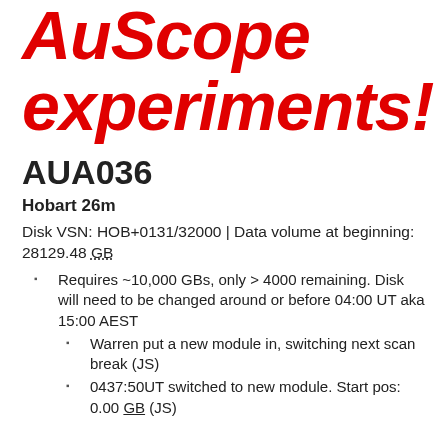AuScope experiments!
AUA036
Hobart 26m
Disk VSN: HOB+0131/32000 | Data volume at beginning: 28129.48 GB
Requires ~10,000 GBs, only > 4000 remaining. Disk will need to be changed around or before 04:00 UT aka 15:00 AEST
Warren put a new module in, switching next scan break (JS)
0437:50UT switched to new module. Start pos: 0.00 GB (JS)